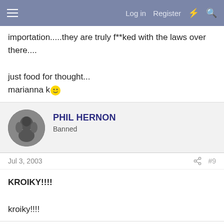Log in  Register
importation.....they are truly f**ked with the laws over there....

just food for thought...
marianna k 🙂
PHIL HERNON
Banned
Jul 3, 2003  #9
KROIKY!!!!

kroiky!!!!
PROUDLY SPONSORED BY: SYNTHETEK - Hardcore products with double money back guarantee!
www.Purchasepeptides.net